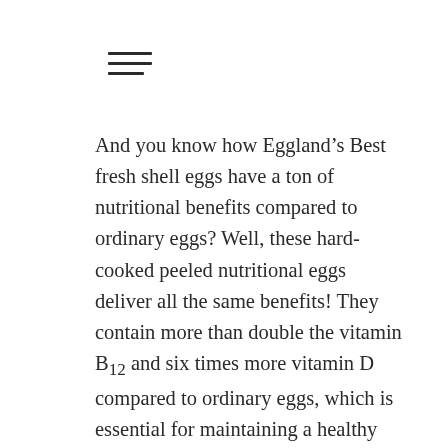[Figure (other): Hamburger menu icon with three horizontal lines]
And you know how Eggland’s Best fresh shell eggs have a ton of nutritional benefits compared to ordinary eggs? Well, these hard-cooked peeled nutritional eggs deliver all the same benefits! They contain more than double the vitamin B12 and six times more vitamin D compared to ordinary eggs, which is essential for maintaining a healthy immune system for busy summer travel. Plus, you’ll also get superior nutritional benefits such as 10 times more vitamin E, double the omega-3s and 25 percent less saturated fat.